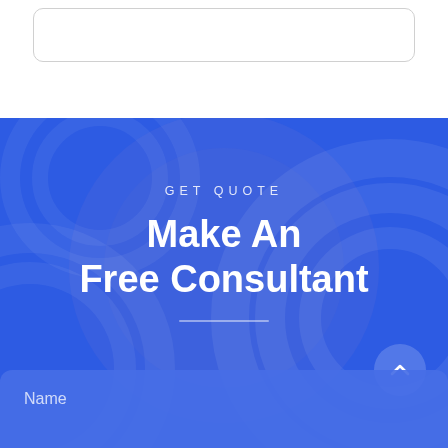[Figure (screenshot): White top section with a rounded input box outline visible at the top]
GET QUOTE
Make An Free Consultant
Name